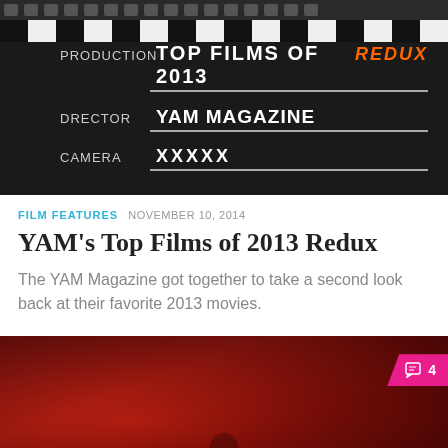[Figure (photo): Film clapperboard graphic with text: PRODUCTION TOP FILMS OF 2013 REDUX, DRECTOR YAM MAGAZINE, CAMERA XXXXX]
FILM FEATURES  NOVEMBER 10, 2014
YAM's Top Films of 2013 Redux
The YAM Magazine got together to take a second look back at their favorite 2013 movies.
[Figure (photo): Dark red-toned cinematic image with silhouetted figure, comment badge showing 4 comments]